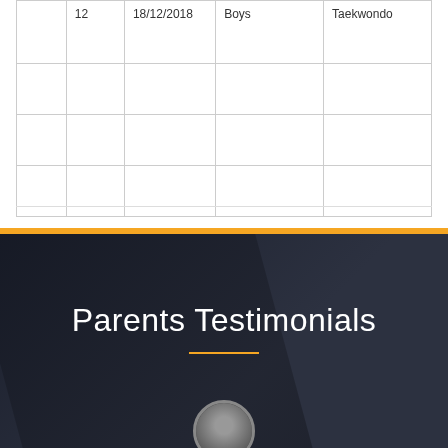|  | 12 | 18/12/2018 | Boys | Taekwondo |
|  |  |  |  |  |
|  |  |  |  |  |
|  |  |  |  |  |
Parents Testimonials